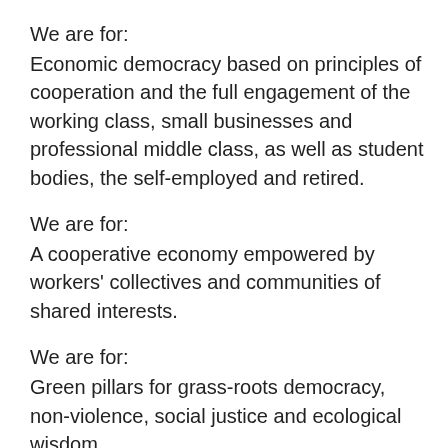We are for:
Economic democracy based on principles of cooperation and the full engagement of the working class, small businesses and professional middle class, as well as student bodies, the self-employed and retired.
We are for:
A cooperative economy empowered by workers' collectives and communities of shared interests.
We are for:
Green pillars for grass-roots democracy, non-violence, social justice and ecological wisdom.
We are for:
Nature, and ecological and environmental policies that imbue reverence toward nature, promote biological…